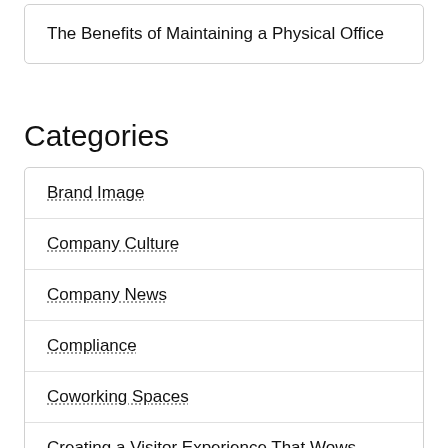The Benefits of Maintaining a Physical Office
Categories
Brand Image
Company Culture
Company News
Compliance
Coworking Spaces
Creating a Visitor Experience That Wows
Culture